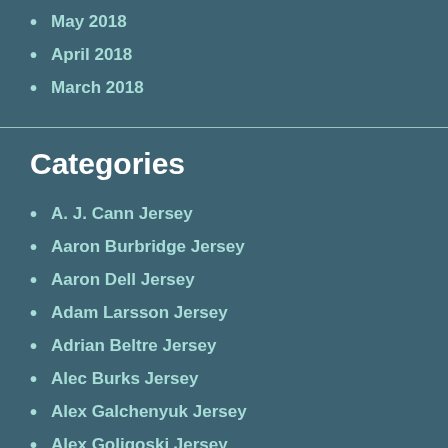May 2018
April 2018
March 2018
Categories
A. J. Cann Jersey
Aaron Burbridge Jersey
Aaron Dell Jersey
Adam Larsson Jersey
Adrian Beltre Jersey
Alec Burks Jersey
Alex Galchenyuk Jersey
Alex Goligoski Jersey